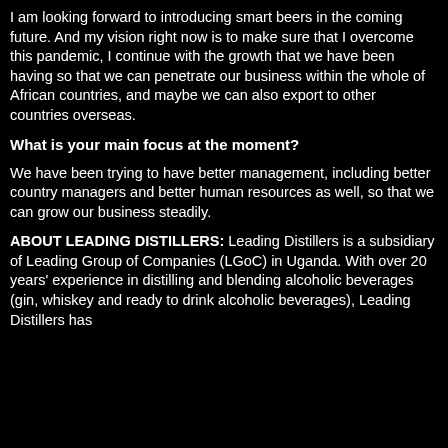I am looking forward to introducing smart beers in the coming future. And my vision right now is to make sure that I overcome this pandemic, I continue with the growth that we have been having so that we can penetrate our business within the whole of African countries, and maybe we can also export to other countries overseas.
What is your main focus at the moment?
We have been trying to have better management, including better country managers and better human resources as well, so that we can grow our business steadily.
ABOUT LEADING DISTILLERS: Leading Distillers is a subsidiary of Leading Group of Companies (LGoC) in Uganda. With over 20 years' experience in distilling and blending alcoholic beverages (gin, whiskey and ready to drink alcoholic beverages), Leading Distillers has